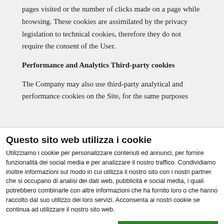pages visited or the number of clicks made on a page while browsing. These cookies are assimilated by the privacy legislation to technical cookies, therefore they do not require the consent of the User.
Performance and Analytics Third-party cookies
The Company may also use third-party analytical and performance cookies on the Site, for the same purposes
Questo sito web utilizza i cookie
Utilizziamo i cookie per personalizzare contenuti ed annunci, per fornire funzionalità dei social media e per analizzare il nostro traffico. Condividiamo inoltre informazioni sul modo in cui utilizza il nostro sito con i nostri partner che si occupano di analisi dei dati web, pubblicità e social media, i quali potrebbero combinarle con altre informazioni che ha fornito loro o che hanno raccolto dal suo utilizzo dei loro servizi. Acconsenta ai nostri cookie se continua ad utilizzare il nostro sito web.
OK
Necessario  Preferenze  Statistiche  Marketing  Mostra dettagli